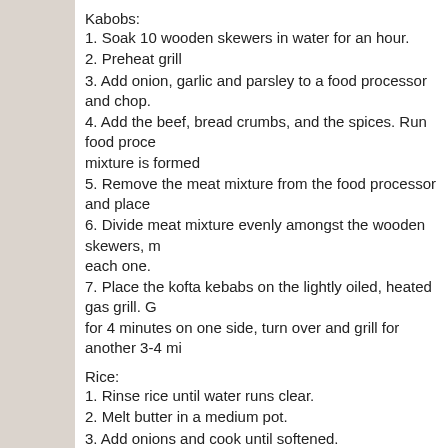Kabobs:
1. Soak 10 wooden skewers in water for an hour.
2. Preheat grill
3. Add onion, garlic and parsley to a food processor and chop.
4. Add the beef, bread crumbs, and the spices. Run food proce... mixture is formed
5. Remove the meat mixture from the food processor and place
6. Divide meat mixture evenly amongst the wooden skewers, m... each one.
7. Place the kofta kebabs on the lightly oiled, heated gas grill. G... for 4 minutes on one side, turn over and grill for another 3-4 mi
Rice:
1. Rinse rice until water runs clear.
2. Melt butter in a medium pot.
3. Add onions and cook until softened.
4. Add cumin, turmeric, cinnamon and garlic. Stir.
5. Add rice and cook for a few minutes
6. Add water, salt, pepper and heat until boiling. Reduce heat to... until liquid is gone 15-18 minutes. After about 10 minutes in, ad
WHAT WE LIKED: